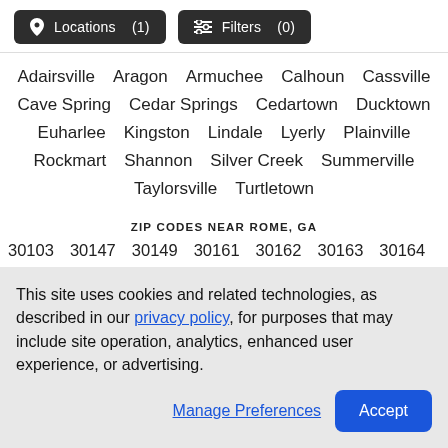Locations (1)   Filters (0)
Adairsville   Aragon   Armuchee   Calhoun   Cassville
Cave Spring   Cedar Springs   Cedartown   Ducktown
Euharlee   Kingston   Lindale   Lyerly   Plainville
Rockmart   Shannon   Silver Creek   Summerville
Taylorsville   Turtletown
ZIP CODES NEAR ROME, GA
30103   30147   30149   30161   30162   30163   30164
This site uses cookies and related technologies, as described in our privacy policy, for purposes that may include site operation, analytics, enhanced user experience, or advertising.
Manage Preferences   Accept